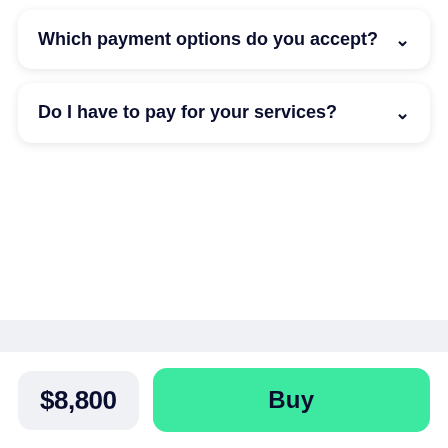Which payment options do you accept?
Do I have to pay for your services?
$8,800
Buy